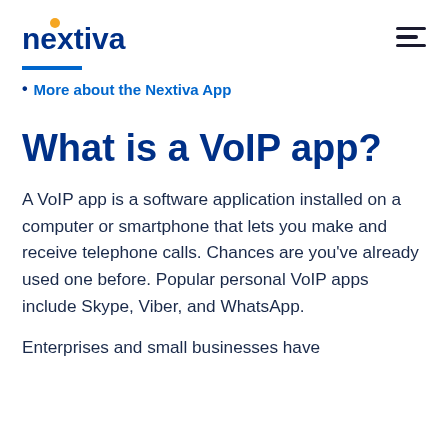nextiva
More about the Nextiva App
What is a VoIP app?
A VoIP app is a software application installed on a computer or smartphone that lets you make and receive telephone calls. Chances are you’ve already used one before. Popular personal VoIP apps include Skype, Viber, and WhatsApp.
Enterprises and small businesses have